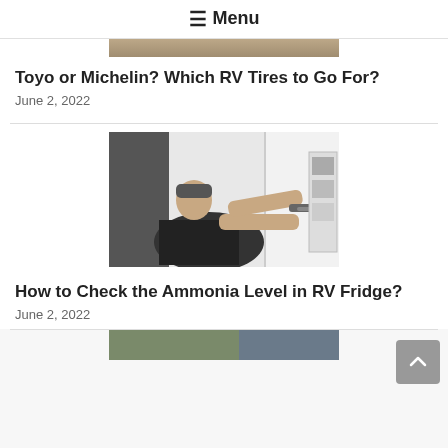☰ Menu
[Figure (photo): Partial top image, appears to be an outdoor/nature scene, cropped at top]
Toyo or Michelin? Which RV Tires to Go For?
June 2, 2022
[Figure (photo): Man in black shirt using a screwdriver on an RV refrigerator panel]
How to Check the Ammonia Level in RV Fridge?
June 2, 2022
[Figure (photo): Partial bottom image, appears to be an outdoor/vehicle scene, cropped at bottom]